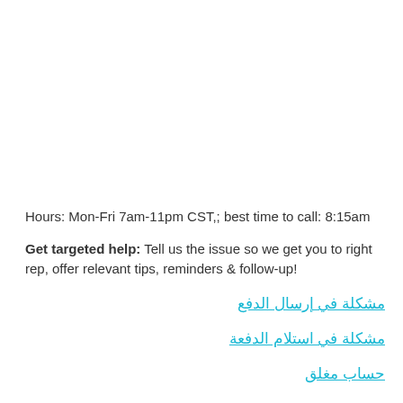Hours: Mon-Fri 7am-11pm CST,; best time to call: 8:15am
Get targeted help: Tell us the issue so we get you to right rep, offer relevant tips, reminders & follow-up!
مشكلة في إرسال الدفع
مشكلة في استلام الدفعة
حساب مغلق